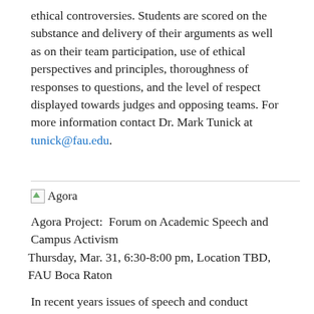ethical controversies. Students are scored on the substance and delivery of their arguments as well as on their team participation, use of ethical perspectives and principles, thoroughness of responses to questions, and the level of respect displayed towards judges and opposing teams. For more information contact Dr. Mark Tunick at tunick@fau.edu.
[Figure (other): Broken image placeholder with label 'Agora']
Agora Project:  Forum on Academic Speech and Campus Activism
Thursday, Mar. 31, 6:30-8:00 pm, Location TBD, FAU Boca Raton
In recent years issues of speech and conduct